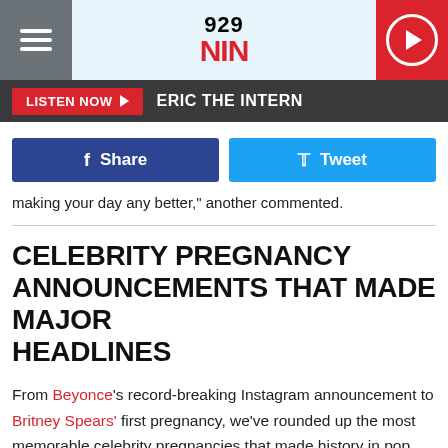929 NIN | LISTEN NOW ► ERIC THE INTERN
[Figure (logo): 929 NIN radio station logo with hamburger menu on left and red play button on right]
f Share   Tweet
making your day any better," another commented.
CELEBRITY PREGNANCY ANNOUNCEMENTS THAT MADE MAJOR HEADLINES
From Beyonce's record-breaking Instagram announcement to Britney Spears' first pregnancy, we've rounded up the most memorable celebrity pregnancies that made history in pop culture. Check it out, below.